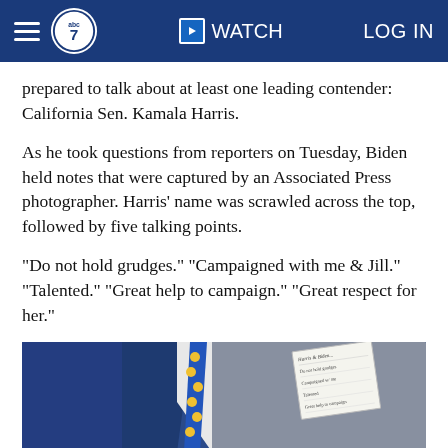abc7 | WATCH | LOG IN
prepared to talk about at least one leading contender: California Sen. Kamala Harris.
As he took questions from reporters on Tuesday, Biden held notes that were captured by an Associated Press photographer. Harris' name was scrawled across the top, followed by five talking points.
"Do not hold grudges." "Campaigned with me & Jill." "Talented." "Great help to campaign." "Great respect for her."
[Figure (photo): Photo of a person in a blue suit with a blue and yellow polka dot tie, holding a notecard with handwritten notes about Kamala Harris]